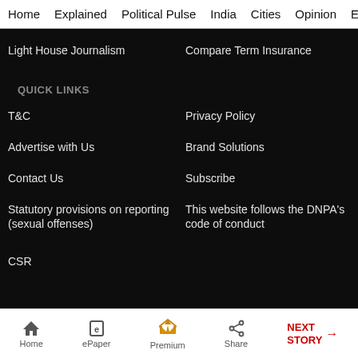Home  Explained  Political Pulse  India  Cities  Opinion  Entertainment
Light House Journalism
Compare Term Insurance
QUICK LINKS
T&C
Privacy Policy
Advertise with Us
Brand Solutions
Contact Us
Subscribe
Statutory provisions on reporting (sexual offenses)
This website follows the DNPA's code of conduct
CSR
Home  ePaper  Premium  Share  NEXT STORY